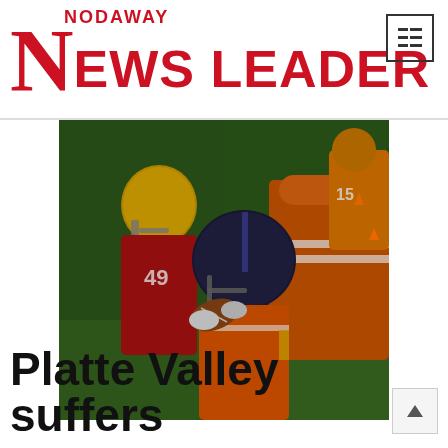[Figure (logo): Nodaway News Leader newspaper logo in red with large serif N and bold sans-serif text]
[Figure (photo): Football game action photo showing players tackling, one in red jersey, one in navy helmet, one in orange jersey, on a green grass field at night]
Platte Valley suffers